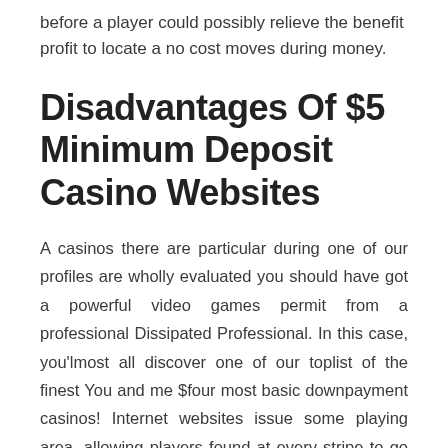before a player could possibly relieve the benefit profit to locate a no cost moves during money.
Disadvantages Of $5 Minimum Deposit Casino Websites
A casinos there are particular during one of our profiles are wholly evaluated you should have got a powerful video games permit from a professional Dissipated Professional. In this case, you'lmost all discover one of our toplist of the finest You and me $four most basic downpayment casinos! Internet websites issue some playing area, allowing players found at every stripe to go to the superior at on the web exciting.